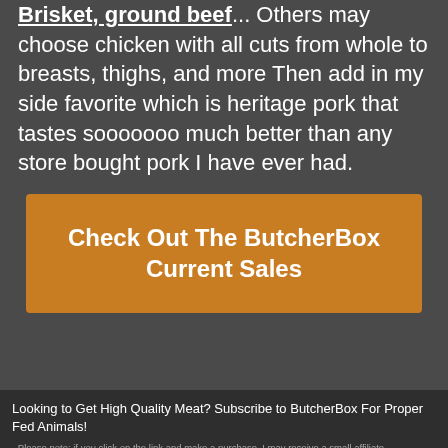Brisket, ground beef... Others may choose chicken with all cuts from whole to breasts, thighs, and more Then add in my side favorite which is heritage pork that tastes sooooooo much better than any store bought pork I have ever had.
Check Out The ButcherBox Current Sales
Looking to Get High Quality Meat? Subscribe to ButcherBox For Proper Fed Animals!
- Please note: if you click on the link and make a purchase, I may receive a small affiliate commission
Check Out the Monthly Deal